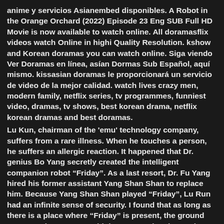anime y servicios Asianembed disponibles. A Robot in the Orange Orchard (2022) Episode 23 Eng SUB Full HD Movie is now available to watch online. All doramasflix videos watch Online in highi Quality Resolution. kshow and Korean doramas you can watch online. Siga viendo Ver Doramas en línea, asían Dormas Sub Español, aquí mismo. kissasian doramas le proporcionará un servicio de video de la mejor calidad. watch lives crazy men, modern family, netflix series, tv programmes, funniest video, dramas, tv shows, best korean drama, netflix korean dramas and best doramas.
Lu Kun, chairman of the 'emu' technology company, suffers from a rare illness. When he touches a person, he suffers an allergic reaction. It happened that Dr. genius Bo Yang secretly created the intelligent companion robot "Friday". As a last resort, Dr. Fu Yang hired his former assistant Yang Shan Shan to replace him. Because Yang Shan Shan played "Friday", Lu Run had an infinite sense of security. I found that as long as there is a place where "Friday" is present, the ground can come into contact with humans and no longer be allergic. This discovery made him even